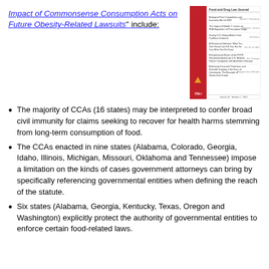Impact of Commonsense Consumption Acts on Future Obesity-Related Lawsuits" include:
[Figure (other): Cover of a legal/food policy journal with red spine, triangle logo, and multiple article listings with authors listed on the right side.]
The majority of CCAs (16 states) may be interpreted to confer broad civil immunity for claims seeking to recover for health harms stemming from long-term consumption of food.
The CCAs enacted in nine states (Alabama, Colorado, Georgia, Idaho, Illinois, Michigan, Missouri, Oklahoma and Tennessee) impose a limitation on the kinds of cases government attorneys can bring by specifically referencing governmental entities when defining the reach of the statute.
Six states (Alabama, Georgia, Kentucky, Texas, Oregon and Washington) explicitly protect the authority of governmental entities to enforce certain food-related laws.